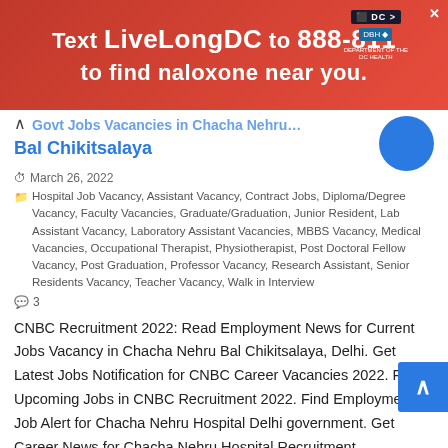[Figure (photo): Red advertisement banner: Text LiveLongDC to 888-811 to find naloxone near you. DC and DBH logos visible top right.]
Govt Jobs Vacancies in Chacha Nehru Bal Chikitsalaya
March 26, 2022
Hospital Job Vacancy, Assistant Vacancy, Contract Jobs, Diploma/Degree Vacancy, Faculty Vacancies, Graduate/Graduation, Junior Resident, Lab Assistant Vacancy, Laboratory Assistant Vacancies, MBBS Vacancy, Medical Vacancies, Occupational Therapist, Physiotherapist, Post Doctoral Fellow Vacancy, Post Graduation, Professor Vacancy, Research Assistant, Senior Residents Vacancy, Teacher Vacancy, Walk in Interview
3
CNBC Recruitment 2022: Read Employment News for Current Jobs Vacancy in Chacha Nehru Bal Chikitsalaya, Delhi. Get Latest Jobs Notification for CNBC Career Vacancies 2022. Find Upcoming Jobs in CNBC Recruitment 2022. Find Employment Job Alert for Chacha Nehru Hospital Delhi government. Get Career News for Chacha Nehru Hospital Recruitment …
Read More »
Delhi University Recruitment 2022- for DU